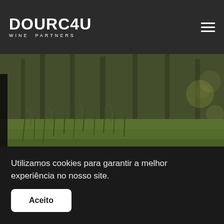DOURO4U WINE PARTNERS
[Figure (photo): Close-up photograph of vineyard ground with green grass shoots, soil mound, and leafless vine trunks in the background, blurred bokeh effect.]
Utilizamos cookies para garantir a melhor experiência no nosso site.
Aceito